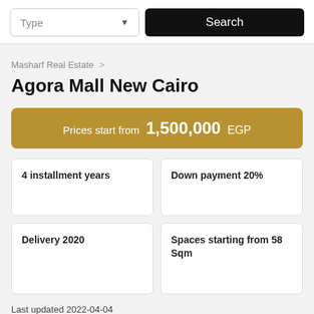Type
Search
Masharf Real Estate >
Agora Mall New Cairo
Prices start from 1,500,000 EGP
4 installment years
Down payment 20%
Delivery 2020
Spaces starting from 58 Sqm
Last updated 2022-04-04
project developer  Urban Development